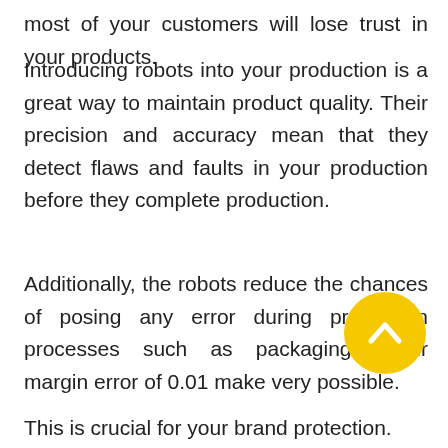most of your customers will lose trust in your products.
Introducing robots into your production is a great way to maintain product quality. Their precision and accuracy mean that they detect flaws and faults in your production before they complete production.
Additionally, the robots reduce the chances of posing any error during production processes such as packaging. Their margin error of 0.01 makes very possible.
This is crucial for your brand protection.